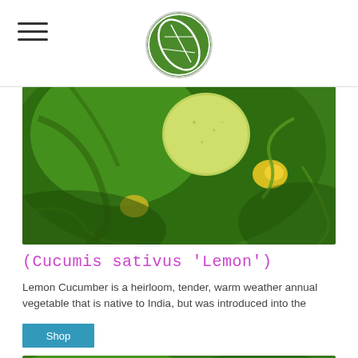Navigation header with hamburger menu and circular logo
[Figure (photo): Close-up photo of lemon cucumber growing on vine with green leaves and yellow flowers]
(Cucumis sativus 'Lemon')
Lemon Cucumber is a heirloom, tender, warm weather annual vegetable that is native to India, but was introduced into the
Shop
[Figure (photo): Photo of green plants with red berries or peppers on vines]